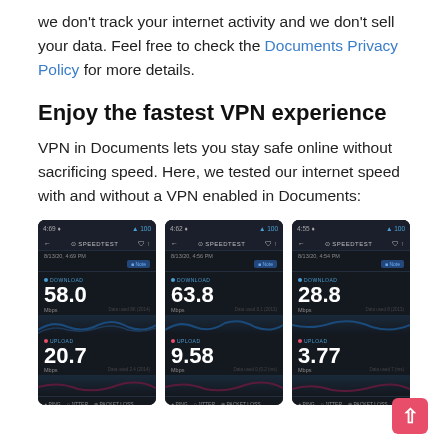we don't track your internet activity and we don't sell your data. Feel free to check the Documents Privacy Policy for more details.
Enjoy the fastest VPN experience
VPN in Documents lets you stay safe online without sacrificing speed. Here, we tested our internet speed with and without a VPN enabled in Documents:
[Figure (screenshot): Three smartphone screenshots showing Speedtest app results. Left: Download 58.0, Upload 20.7, Ping 3, Jitter 17, Packet Loss 0, date 8/13/20 4:69 PM, server SoHo.NET. Middle: Download 63.8, Upload 9.58, Ping 23, Jitter 28, date 8/13/20 4:56 PM, server v-cyclone. Right: Download 28.8, Upload 3.77, Ping 69, Jitter 42, date 8/13/20 4:54 PM, server UKZ.NET.]